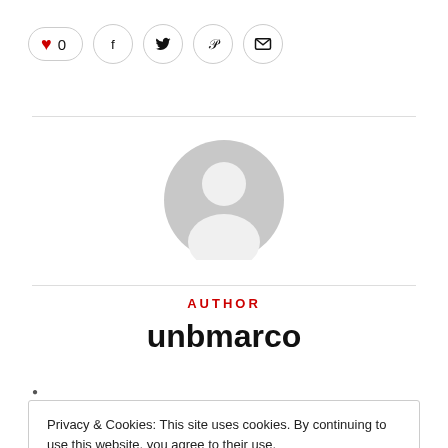[Figure (infographic): Social sharing bar with heart/like button showing count 0, and icons for Facebook, Twitter, Pinterest, and email]
[Figure (illustration): Default gray user avatar circle with silhouette of a person's head and shoulders]
AUTHOR
unbmarco
•
Privacy & Cookies: This site uses cookies. By continuing to use this website, you agree to their use.
To find out more, including how to control cookies, see here: Cookie Policy
Close and accept